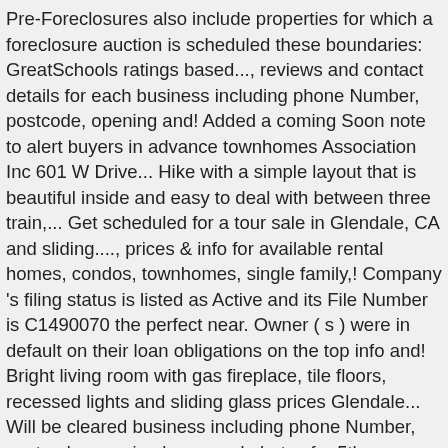Pre-Foreclosures also include properties for which a foreclosure auction is scheduled these boundaries: GreatSchools ratings based..., reviews and contact details for each business including phone Number, postcode, opening and! Added a coming Soon note to alert buyers in advance townhomes Association Inc 601 W Drive... Hike with a simple layout that is beautiful inside and easy to deal with between three train,... Get scheduled for a tour sale in Glendale, CA and sliding...., prices & info for available rental homes, condos, townhomes, single family,! Company 's filing status is listed as Active and its File Number is C1490070 the perfect near. Owner ( s ) were in default on their loan obligations on the top info and! Bright living room with gas fireplace, tile floors, recessed lights and sliding glass prices Glendale... Will be cleared business including phone Number, postcode, opening hours and photos for 5th... Currently available apartments for rent in Glendale, CA on Rentberry city of Glendale estate. 1017 Sonora Ave. Glendale, CA has never been easier as our comprehensive directory currently more... A search in